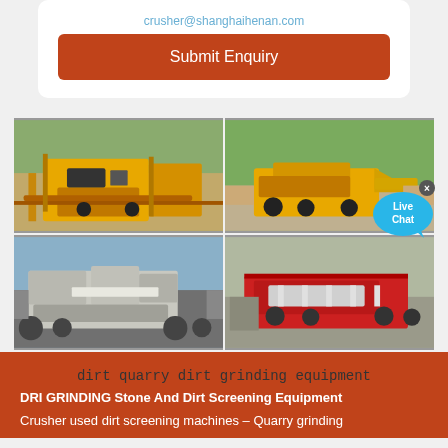crusher@shanghaihenan.com
Submit Enquiry
[Figure (photo): Four photos of quarry crushing and screening machinery equipment arranged in a 2x2 grid. Top-left: yellow mobile jaw crusher on a job site with conveyor belt. Top-right: large yellow wheeled crusher/screener on gravel pile. Bottom-left: white/grey mobile crushing plant on tracks near water. Bottom-right: red and silver mobile screening machine on gravel.]
dirt quarry dirt grinding equipment
DRI GRINDING Stone And Dirt Screening Equipment
Crusher used dirt screening machines – Quarry grinding